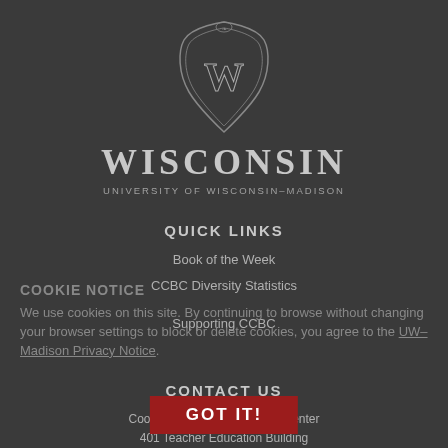[Figure (logo): University of Wisconsin-Madison crest/shield logo with ornate border and W lettermark]
WISCONSIN
UNIVERSITY OF WISCONSIN-MADISON
QUICK LINKS
Book of the Week
CCBC Diversity Statistics
Supporting CCBC
COOKIE NOTICE
We use cookies on this site. By continuing to browse without changing your browser settings to block or delete cookies, you agree to the UW-Madison Privacy Notice.
CONTACT US
GOT IT!
Cooperative Children's Book Center
401 Teacher Education Building
225 N. Mills Street